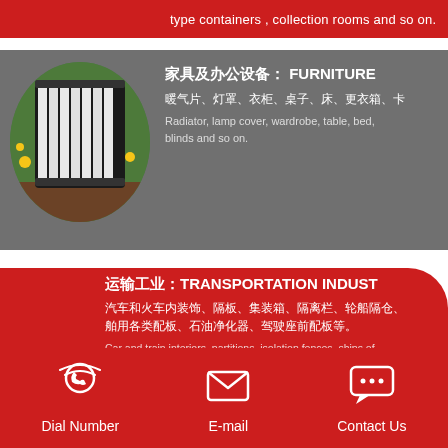type containers , collection rooms and so on.
[Figure (photo): Circular photo of white radiator panels in front of green plants/garden]
家具及办公设备： FURNITURE
暖气片、灯罩、衣柜、桌子、床、更衣箱、卡
Radiator, lamp cover, wardrobe, table, bed, blinds and so on.
运输工业：TRANSPORTATION INDUST
汽车和火车内装饰、隔板、集装箱、隔离栏、轮船隔仓、舶用各类配板、石油净化器、驾驶座前配板等。
Car and train interiors, partitions, isolation fences, ships of kinds of piping, vessels equipped with all kinds of plate before the driver's seat and so on.
农业用品：AGRICULTURAL E
Dial Number    E-mail    Contact Us